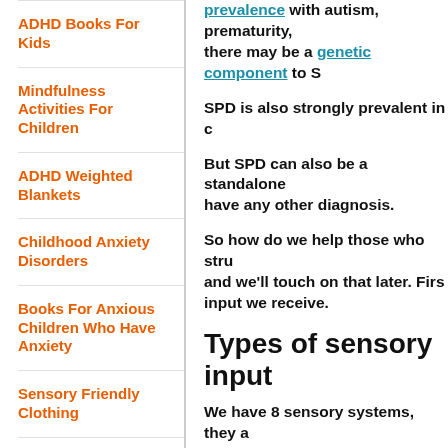ADHD Books For Kids
Mindfulness Activities For Children
ADHD Weighted Blankets
Childhood Anxiety Disorders
Books For Anxious Children Who Have Anxiety
Sensory Friendly Clothing
ADHD Books For Parents
My Amazon Storefront Favorites
prevalence with autism, prematurity, there may be a genetic component to S
SPD is also strongly prevalent in c
But SPD can also be a standalone have any other diagnosis.
So how do we help those who stru and we'll touch on that later. Firs input we receive.
Types of sensory input
We have 8 sensory systems, they a these systems are more 'known' a
1. Tactile-what you feel (touch).
2. Visual-what you see.
3. Auditory-what you hear.
4. Gustation-what you taste.